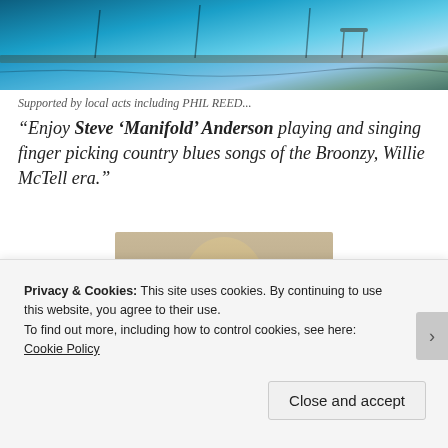[Figure (photo): Top banner photo of a music venue/studio interior with blue lighting and equipment visible]
Supported by local acts including PHIL REED...
“Enjoy Steve ‘Manifold’ Anderson playing and singing finger picking country blues songs of the Broonzy, Willie McTell era.”
[Figure (photo): Photo of a long-haired blonde person in a blue sweatshirt playing an acoustic/resonator guitar, seated indoors]
Privacy & Cookies: This site uses cookies. By continuing to use this website, you agree to their use.
To find out more, including how to control cookies, see here: Cookie Policy
Close and accept